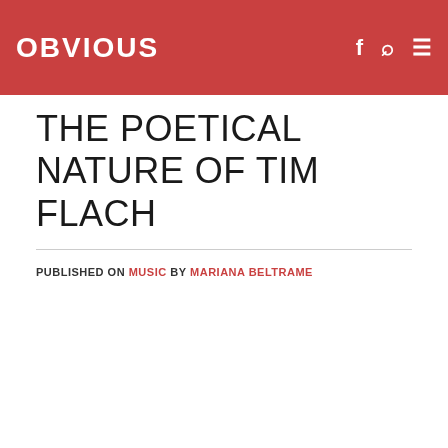OBVIOUS
THE POETICAL NATURE OF TIM FLACH
PUBLISHED ON MUSIC BY MARIANA BELTRAME